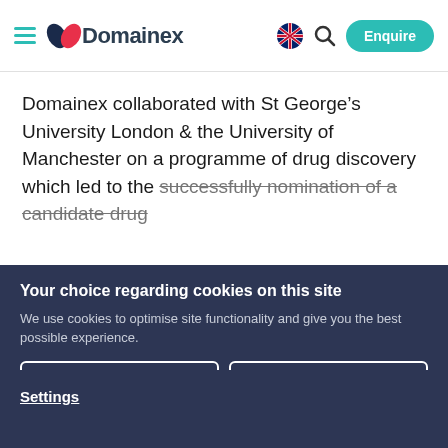[Figure (logo): Domainex logo with hamburger menu, flag icon, search icon, and Enquire button in navigation bar]
Domainex collaborated with St George’s University London & the University of Manchester on a programme of drug discovery which led to the successfully nomination of a candidate drug
Your choice regarding cookies on this site
We use cookies to optimise site functionality and give you the best possible experience.
I Accept Cookies
I Do Not Accept Cookies
Settings